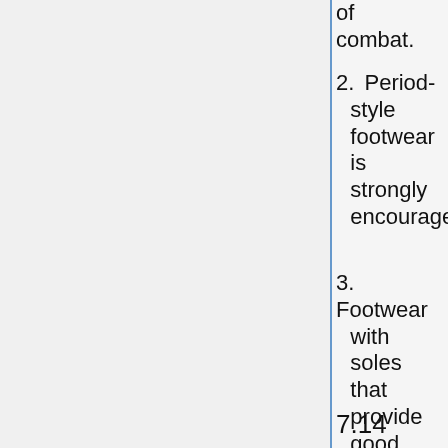of combat.
2. Period-style footwear is strongly encouraged
3. Footwear with soles that provide good traction is strongly recommended
7.14